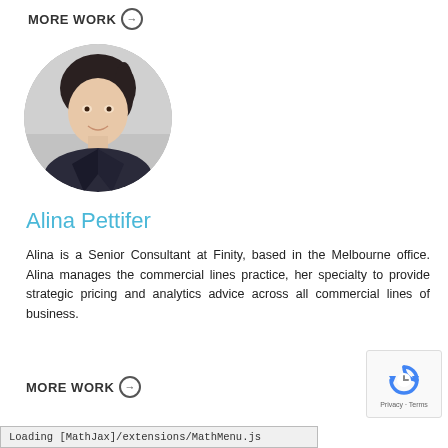MORE WORK →
[Figure (photo): Circular headshot photo of Alina Pettifer, a woman with dark hair pulled back, wearing a dark blazer, smiling, against a grey background]
Alina Pettifer
Alina is a Senior Consultant at Finity, based in the Melbourne office. Alina manages the commercial lines practice, her specialty to provide strategic pricing and analytics advice across all commercial lines of business.
MORE WORK →
Loading [MathJax]/extensions/MathMenu.js